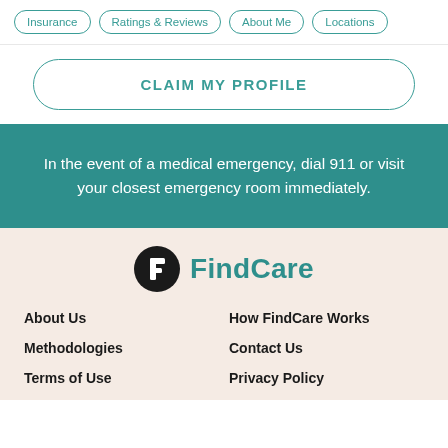Insurance | Ratings & Reviews | About Me | Locations
CLAIM MY PROFILE
In the event of a medical emergency, dial 911 or visit your closest emergency room immediately.
[Figure (logo): Healthgrades FindCare logo: black circle with white 'h' icon and teal 'FindCare' text]
About Us
How FindCare Works
Methodologies
Contact Us
Terms of Use
Privacy Policy